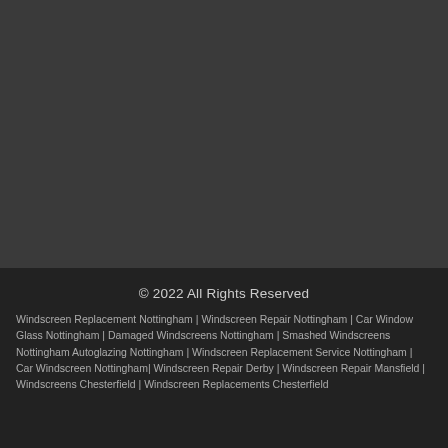© 2022 All Rights Reserved
Windscreen Replacement Nottingham | Windscreen Repair Nottingham | Car Window Glass Nottingham | Damaged Windscreens Nottingham | Smashed Windscreens Nottingham Autoglazing Nottingham | Windscreen Replacement Service Nottingham | Car Windscreen Nottingham| Windscreen Repair Derby | Windscreen Repair Mansfield | Windscreens Chesterfield | Windscreen Replacements Chesterfield